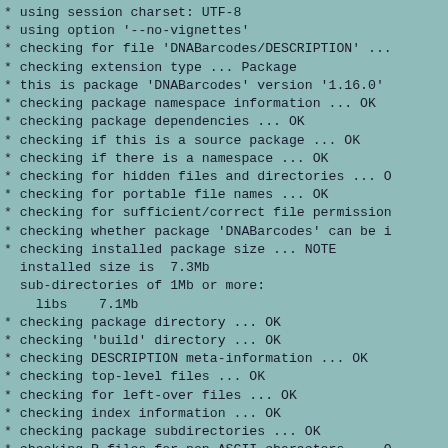* using session charset: UTF-8
* using option '--no-vignettes'
* checking for file 'DNABarcodes/DESCRIPTION' ...
* checking extension type ... Package
* this is package 'DNABarcodes' version '1.16.0'
* checking package namespace information ... OK
* checking package dependencies ... OK
* checking if this is a source package ... OK
* checking if there is a namespace ... OK
* checking for hidden files and directories ... O
* checking for portable file names ... OK
* checking for sufficient/correct file permission
* checking whether package 'DNABarcodes' can be i
* checking installed package size ... NOTE
  installed size is  7.3Mb
  sub-directories of 1Mb or more:
    libs    7.1Mb
* checking package directory ... OK
* checking 'build' directory ... OK
* checking DESCRIPTION meta-information ... OK
* checking top-level files ... OK
* checking for left-over files ... OK
* checking index information ... OK
* checking package subdirectories ... OK
* checking R files for non-ASCII characters ... O
* checking R files for syntax errors ... OK
* checking whether the package can be loaded ...
* checking whether the package can be loaded with